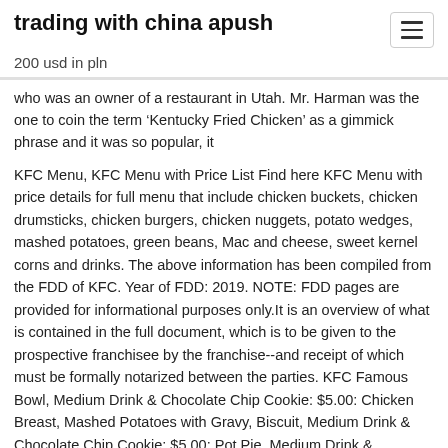trading with china apush
200 usd in pln
who was an owner of a restaurant in Utah. Mr. Harman was the one to coin the term ‘Kentucky Fried Chicken’ as a gimmick phrase and it was so popular, it
KFC Menu, KFC Menu with Price List Find here KFC Menu with price details for full menu that include chicken buckets, chicken drumsticks, chicken burgers, chicken nuggets, potato wedges, mashed potatoes, green beans, Mac and cheese, sweet kernel corns and drinks. The above information has been compiled from the FDD of KFC. Year of FDD: 2019. NOTE: FDD pages are provided for informational purposes only.It is an overview of what is contained in the full document, which is to be given to the prospective franchisee by the franchise--and receipt of which must be formally notarized between the parties. KFC Famous Bowl, Medium Drink & Chocolate Chip Cookie: $5.00: Chicken Breast, Mashed Potatoes with Gravy, Biscuit, Medium Drink & Chocolate Chip Cookie: $5.00: Pot Pie, Medium Drink &